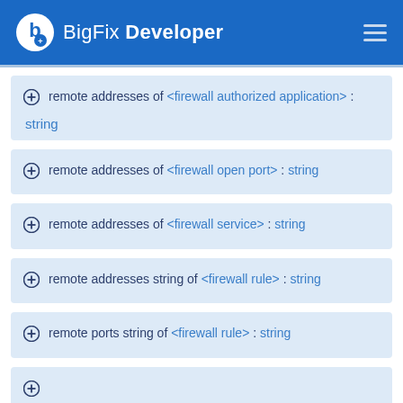BigFix Developer
remote addresses of <firewall authorized application> : string
remote addresses of <firewall open port> : string
remote addresses of <firewall service> : string
remote addresses string of <firewall rule> : string
remote ports string of <firewall rule> : string
(partial entry cut off)